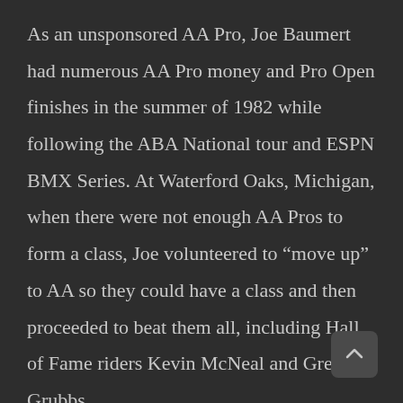As an unsponsored AA Pro, Joe Baumert had numerous AA Pro money and Pro Open finishes in the summer of 1982 while following the ABA National tour and ESPN BMX Series. At Waterford Oaks, Michigan, when there were not enough AA Pros to form a class, Joe volunteered to “move up” to AA so they could have a class and then proceeded to beat them all, including Hall of Fame riders Kevin McNeal and Greg Grubbs.

In 1983 Joe Baumert started the year strong finishing 2nd place at the ABA Winter Nationals in